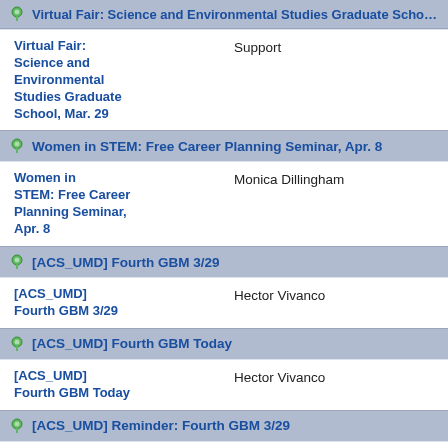Virtual Fair: Science and Environmental Studies Graduate School, Mar...
Virtual Fair: Science and Environmental Studies Graduate School, Mar. 29 | Support
Women in STEM: Free Career Planning Seminar, Apr. 8
Women in STEM: Free Career Planning Seminar, Apr. 8 | Monica Dillingham
[ACS_UMD] Fourth GBM 3/29
[ACS_UMD] Fourth GBM 3/29 | Hector Vivanco
[ACS_UMD] Fourth GBM Today
[ACS_UMD] Fourth GBM Today | Hector Vivanco
[ACS_UMD] Reminder: Fourth GBM 3/29
[ACS_UMD] Reminder: Fourth GBM 3/29 | Hector Vivanco
[ACS_UMD] Third GBM 3/8